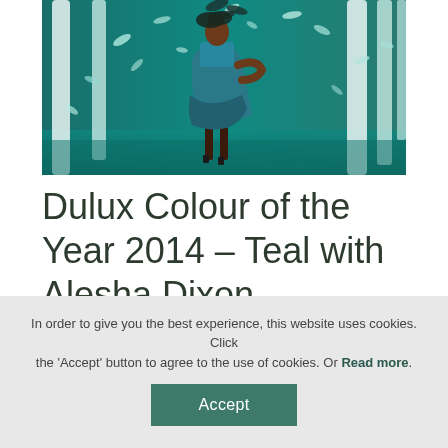[Figure (photo): A woman in a teal feathered dress poses in a dreamy teal-toned forest scene with feathers floating around her, promoting Dulux Colour of the Year 2014 – Teal.]
Dulux Colour of the Year 2014 – Teal with Alesha Dixon
In order to give you the best experience, this website uses cookies. Click the 'Accept' button to agree to the use of cookies. Or Read more.